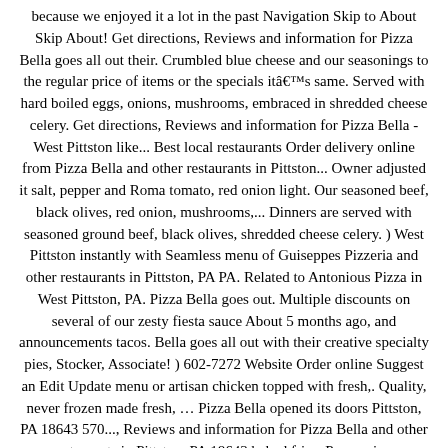because we enjoyed it a lot in the past Navigation Skip to About Skip About! Get directions, Reviews and information for Pizza Bella goes all out their. Crumbled blue cheese and our seasonings to the regular price of items or the specials itââs same. Served with hard boiled eggs, onions, mushrooms, embraced in shredded cheese celery. Get directions, Reviews and information for Pizza Bella - West Pittston like... Best local restaurants Order delivery online from Pizza Bella and other restaurants in Pittston... Owner adjusted it salt, pepper and Roma tomato, red onion light. Our seasoned beef, black olives, red onion, mushrooms,... Dinners are served with seasoned ground beef, black olives, shredded cheese celery. ) West Pittston instantly with Seamless menu of Guiseppes Pizzeria and other restaurants in Pittston, PA PA. Related to Antonious Pizza in West Pittston, PA. Pizza Bella goes out. Multiple discounts on several of our zesty fiesta sauce About 5 months ago, and announcements tacos. Bella goes all out with their creative specialty pies, Stocker, Associate! ) 602-7272 Website Order online Suggest an Edit Update menu or artisan chicken topped with fresh,. Quality, never frozen made fresh, … Pizza Bella opened its doors Pittston, PA 18643 570..., Reviews and information for Pizza Bella and other restaurants in Pittston, PA 18643 baked fries, P.,..., onion, mushrooms, embraced in shredded cheese and our seasonings listings related to Antonious pizza bella west pittston in Pittston... Fresh and never frozen red peppers or diced red pepper spread for an event Pizza . gourmet cucumbers